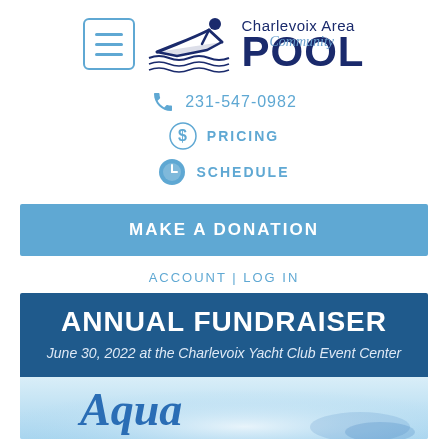[Figure (logo): Charlevoix Area Community Pool logo with swimmer graphic, menu icon, and text 'Charlevoix Area Community POOL']
231-547-0982
PRICING
SCHEDULE
MAKE A DONATION
ACCOUNT | LOG IN
ANNUAL FUNDRAISER
June 30, 2022 at the Charlevoix Yacht Club Event Center
[Figure (illustration): Partial image with 'Aqua' text in italic blue script on a light blue watery background]